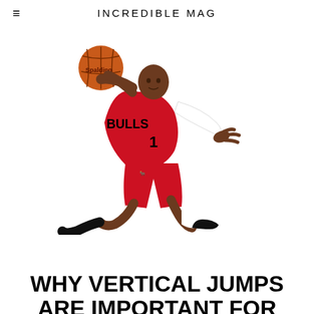≡  INCREDIBLE MAG
[Figure (photo): Basketball player in red Chicago Bulls jersey number 1 jumping in the air holding a basketball, arms extended, on white background]
HEALTH
WHY VERTICAL JUMPS ARE IMPORTANT FOR